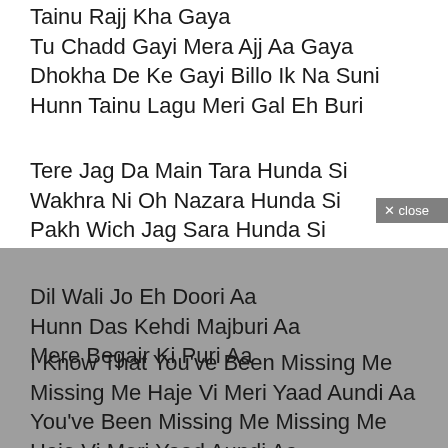Tainu Rajj Kha Gaya
Tu Chadd Gayi Mera Ajj Aa Gaya
Dhokha De Ke Gayi Billo Ik Na Suni
Hunn Tainu Lagu Meri Gal Eh Buri
Tere Jag Da Main Tara Hunda Si
Wakhra Ni Oh Nazara Hunda Si
Pakh Wich Jag Sara Hunda Si
Dil Wali Jo Eh Doori Aa
Hunn Das Kehdi Majburi Aa
Mere Begair Ki Puri Aa
I Know That You've Been Missing Me
Missing Me Haje Vi Meri Yaad Aundi Aa
You've Been Missing Me Missing Me
Haje Vi Meri Yaad Aundi Aa